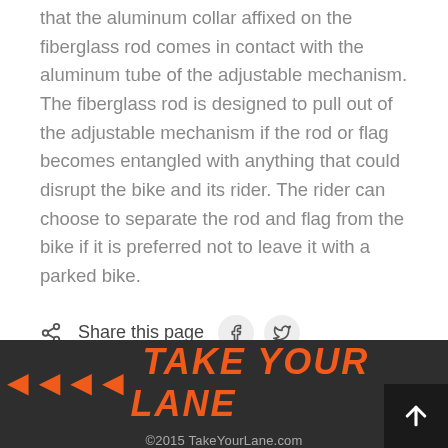that the aluminum collar affixed on the fiberglass rod comes in contact with the aluminum tube of the adjustable mechanism. The fiberglass rod is designed to pull out of the adjustable mechanism if the rod or flag becomes entangled with anything that could disrupt the bike and its rider. The rider can choose to separate the rod and flag from the bike if it is preferred not to leave it with a parked bike.
Share this page
◄◄◄◄ TAKE YOUR LANE | ©2015 TakeYourLane.com